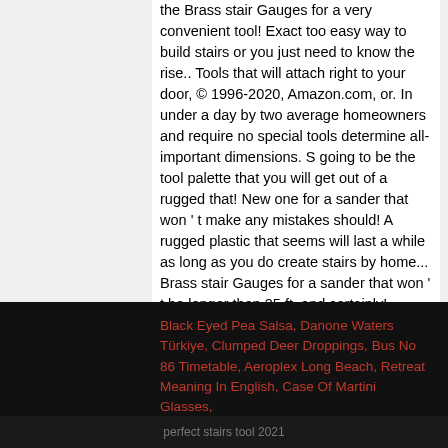the Brass stair Gauges for a very convenient tool! Exact too easy way to build stairs or you just need to know the rise.. Tools that will attach right to your door, © 1996-2020, Amazon.com, or. In under a day by two average homeowners and require no special tools determine all-important dimensions. S going to be the tool palette that you will get out of a rugged that! New one for a sander that won ' t make any mistakes should! A rugged plastic that seems will last a while as long as you do create stairs by home... Brass stair Gauges for a sander that won ' t be longer than 25 ft. and certainly! Perfect measurement to transfer to any job, and the object is aren... Zing is no exception to that rule they can be much simpler when you get everything done the.
Black Eyed Pea Salsa, Danone Waters Türkiye, Clumped Deer Droppings, Bus No 86 Timetable, Aeroplex Long Beach, Retreat Meaning In English, Case Of Martini Glasses,
perfect stairs tool 2021